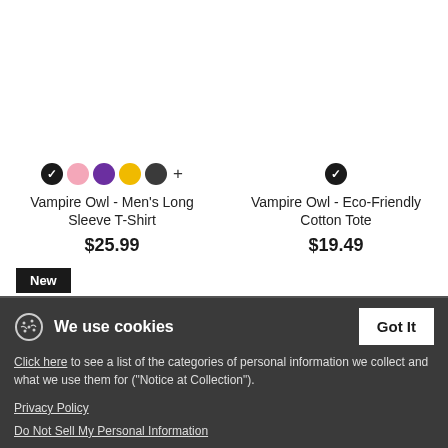[Figure (other): Product color swatches for Vampire Owl Men's Long Sleeve T-Shirt: black (selected), pink, purple, yellow, dark gray, plus more button]
Vampire Owl - Men's Long Sleeve T-Shirt
$25.99
[Figure (other): Product color swatch for Vampire Owl Eco-Friendly Cotton Tote: black (selected)]
Vampire Owl - Eco-Friendly Cotton Tote
$19.49
New
We use cookies
Got It
Click here to see a list of the categories of personal information we collect and what we use them for ("Notice at Collection").
Privacy Policy
Do Not Sell My Personal Information
By using this website, I agree to the Terms and Conditions